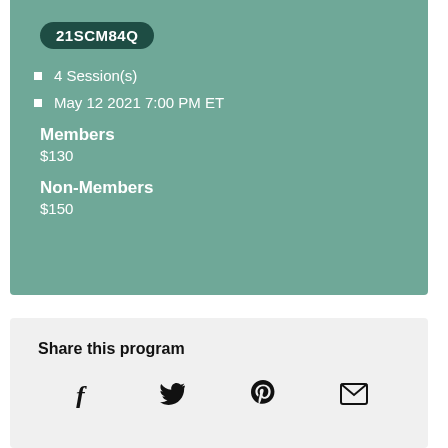21SCM84Q
4 Session(s)
May 12 2021 7:00 PM ET
Members
$130
Non-Members
$150
Share this program
[Figure (infographic): Social share icons: Facebook (f), Twitter (bird), Pinterest (P), Email (envelope)]